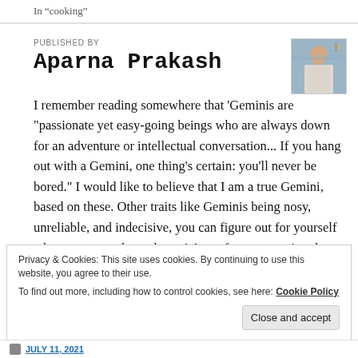In "cooking"
PUBLISHED BY
Aparna Prakash
[Figure (photo): Profile photo of Aparna Prakash]
I remember reading somewhere that 'Geminis are "passionate yet easy-going beings who are always down for an adventure or intellectual conversation... If you hang out with a Gemini, one thing's certain: you'll never be bored." I would like to believe that I am a true Gemini, based on these. Other traits like Geminis being nosy, unreliable, and indecisive, you can figure out for yourself when you get to know better! Apart from portraying the
Privacy & Cookies: This site uses cookies. By continuing to use this website, you agree to their use.
To find out more, including how to control cookies, see here: Cookie Policy
Close and accept
JULY 11, 2021